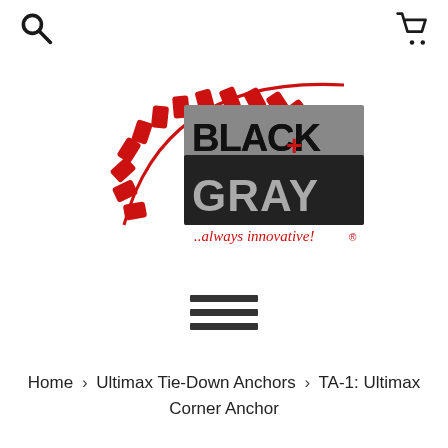Search | Cart
[Figure (logo): Black + Gray logo with red arc of tiles and tagline '..always innovative!']
[Figure (other): Hamburger menu icon with three horizontal bars]
Home › Ultimax Tie-Down Anchors › TA-1: Ultimax Corner Anchor